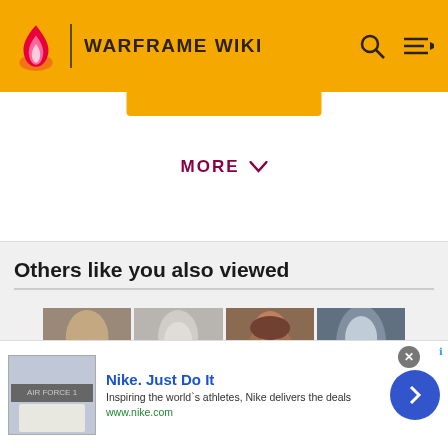WARFRAME WIKI
MORE
Others like you also viewed
[Figure (other): Card image for Ember warframe character]
Ember
[Figure (other): Card image for Saryn warframe character]
Saryn
[Figure (other): Card image for Lieutenant L... character]
Lieutenant L...
[Figure (other): Card image for Warframes category]
Warframes
[Figure (other): Nike advertisement banner showing Air Force 1 sneakers]
Nike. Just Do It
Inspiring the world's athletes, Nike delivers the deals
www.nike.com